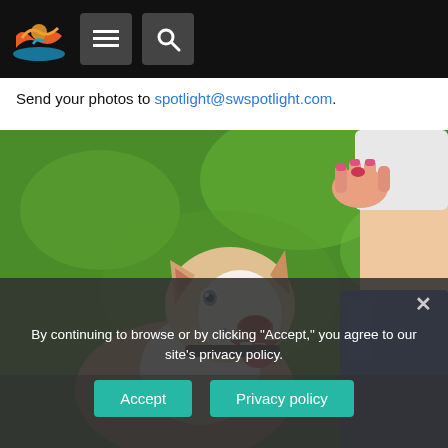SW Spotlight navigation bar with logo, menu, and search buttons
Send your photos to spotlight@swspotlight.com.
[Figure (photo): A husky dog looking up at a person's hand holding a treat, outdoors on green grass background.]
By continuing to browse or by clicking "Accept," you agree to our site's privacy policy.